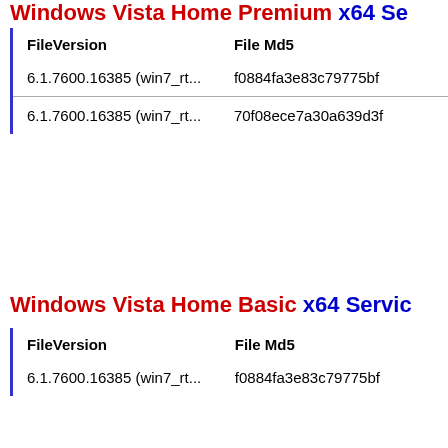Windows Vista Home Premium x64 Service Pack ...
| FileVersion | File Md5 |
| --- | --- |
| 6.1.7600.16385 (win7_rt... | f0884fa3e83c79775bf... |
| 6.1.7600.16385 (win7_rt... | 70f08ece7a30a639d3f... |
Windows Vista Home Basic x64 Service Pack ...
| FileVersion | File Md5 |
| --- | --- |
| 6.1.7600.16385 (win7_rt... | f0884fa3e83c79775bf... |